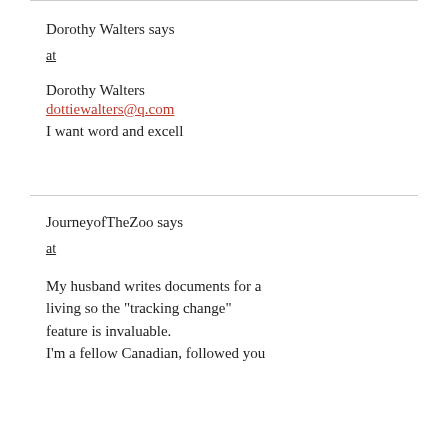Dorothy Walters says
at
Dorothy Walters
dottiewalters@q.com
I want word and excell
JourneyofTheZoo says
at
My husband writes documents for a living so the "tracking change" feature is invaluable.
I'm a fellow Canadian, followed you